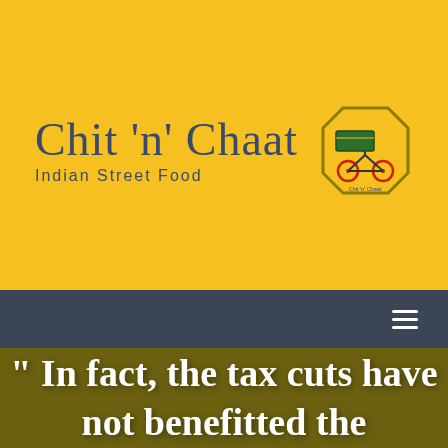[Figure (logo): Chit n Chaat Indian Street Food logo with brand name text and octagonal badge featuring a bicycle rickshaw]
Chit 'n' Chaat
Indian Street Food
" In fact, the tax cuts have not benefitted the